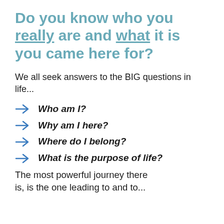Do you know who you really are and what it is you came here for?
We all seek answers to the BIG questions in life...
Who am I?
Why am I here?
Where do I belong?
What is the purpose of life?
The most powerful journey there is, is the one leading to and to...